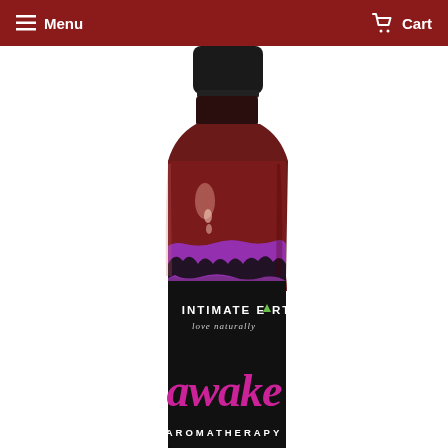Menu  Cart
[Figure (photo): Intimate Earth Awake Aromatherapy massage oil bottle. A tall bottle with a black cap, reddish-brown liquid visible through the upper portion, a purple/magenta label band with dark floral silhouettes at the top, then a black label area showing 'INTIMATE EARTH love naturally' in white text with a green triangle in the 'A', and below that the word 'awake' in large pink cursive script, followed by 'AROMATHERAPY' in white capital letters at the bottom.]